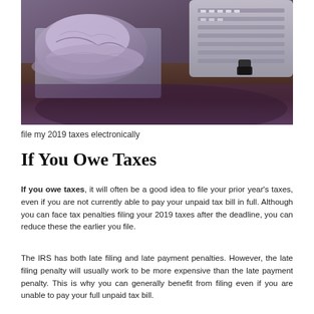[Figure (photo): Close-up photo of crumpled paper receipts/documents piled in a tray with a keyboard or typewriter visible in the upper right, on a wooden surface. Purple-brown tones.]
file my 2019 taxes electronically
If You Owe Taxes
If you owe taxes, it will often be a good idea to file your prior year's taxes, even if you are not currently able to pay your unpaid tax bill in full. Although you can face tax penalties filing your 2019 taxes after the deadline, you can reduce these the earlier you file.
The IRS has both late filing and late payment penalties. However, the late filing penalty will usually work to be more expensive than the late payment penalty. This is why you can generally benefit from filing even if you are unable to pay your full unpaid tax bill.